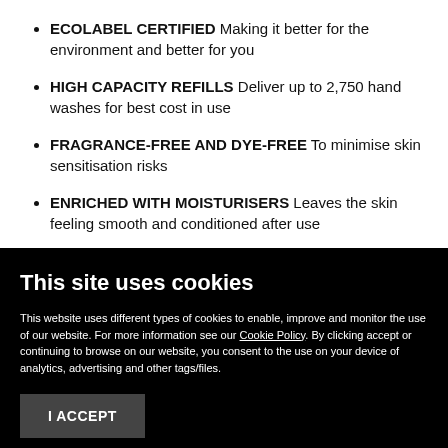ECOLABEL CERTIFIED Making it better for the environment and better for you
HIGH CAPACITY REFILLS Deliver up to 2,750 hand washes for best cost in use
FRAGRANCE-FREE AND DYE-FREE To minimise skin sensitisation risks
ENRICHED WITH MOISTURISERS Leaves the skin feeling smooth and conditioned after use
This site uses cookies
This website uses different types of cookies to enable, improve and monitor the use of our website. For more information see our Cookie Policy. By clicking accept or continuing to browse on our website, you consent to the use on your device of analytics, advertising and other tags/files.
I ACCEPT